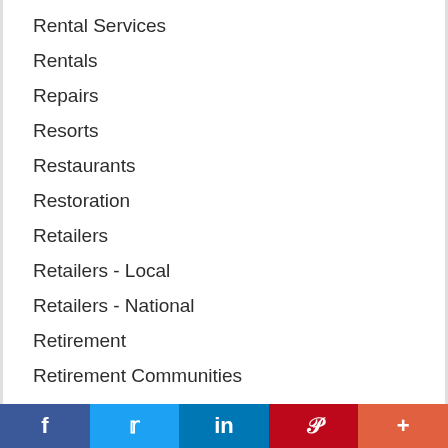Rental Services
Rentals
Repairs
Resorts
Restaurants
Restoration
Retailers
Retailers - Local
Retailers - National
Retirement
Retirement Communities
Roadside Assistance
Roadside Services
Roof Snow Removal
f  t  in  P  +